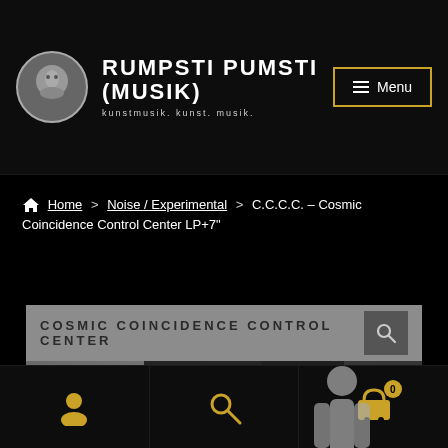RUMPSTI PUMSTI (MUSIK) - kunstmusik. kunst. musik.
Home > Noise / Experimental > C.C.C.C. – Cosmic Coincidence Control Center LP+7"
[Figure (screenshot): Product page image showing 'COSMIC COINCIDENCE CONTROL CENTER' album artwork with dark/grey background and performance photos]
Navigation icons: user, search, cart (0)